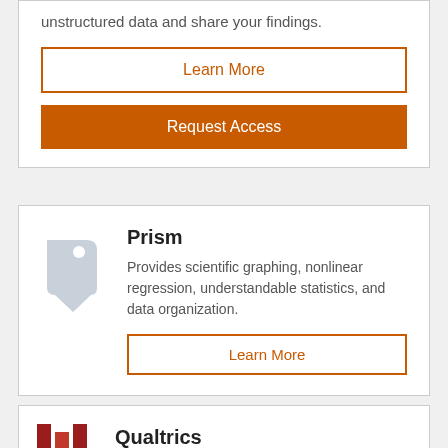unstructured data and share your findings.
Learn More
Request Access
Prism
Provides scientific graphing, nonlinear regression, understandable statistics, and data organization.
Learn More
Qualtrics